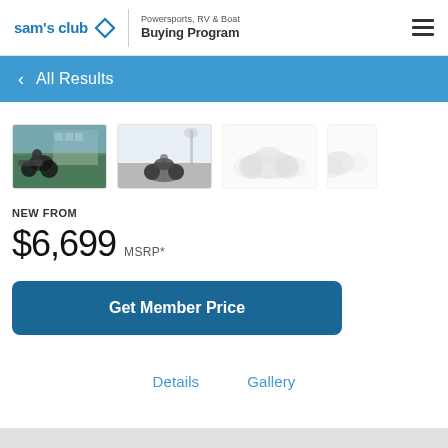Sam's Club | Powersports, RV & Boat Buying Program
< All Results
[Figure (photo): Gallery strip showing four motorcycle images; first two are color photos of motorcycles in action, third and fourth are faded/greyed silhouette images of motorcycles]
NEW FROM
$6,699 MSRP*
Get Member Price
Details   Gallery